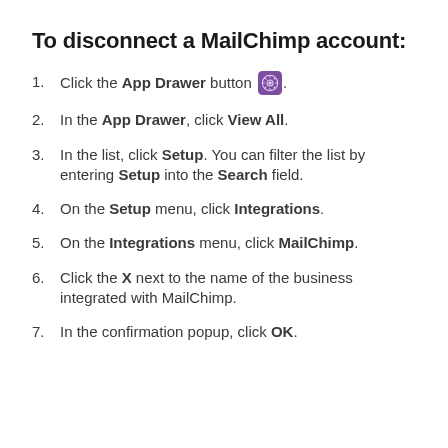To disconnect a MailChimp account:
Click the App Drawer button [icon].
In the App Drawer, click View All.
In the list, click Setup. You can filter the list by entering Setup into the Search field.
On the Setup menu, click Integrations.
On the Integrations menu, click MailChimp.
Click the X next to the name of the business integrated with MailChimp.
In the confirmation popup, click OK.